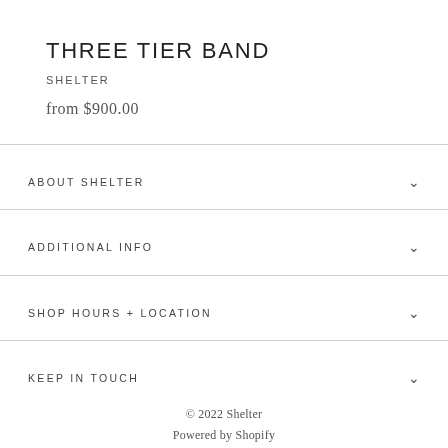THREE TIER BAND
SHELTER
from $900.00
ABOUT SHELTER
ADDITIONAL INFO
SHOP HOURS + LOCATION
KEEP IN TOUCH
© 2022 Shelter
Powered by Shopify